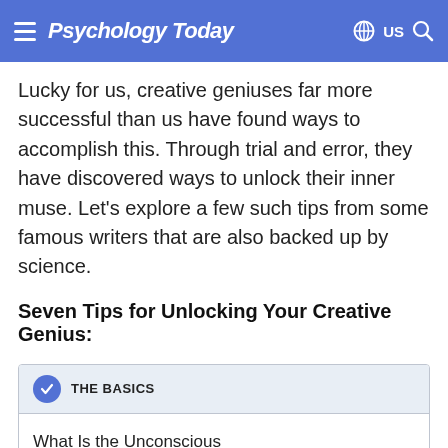Psychology Today
Lucky for us, creative geniuses far more successful than us have found ways to accomplish this. Through trial and error, they have discovered ways to unlock their inner muse. Let's explore a few such tips from some famous writers that are also backed up by science.
Seven Tips for Unlocking Your Creative Genius:
THE BASICS
What Is the Unconscious
Find a therapist near me